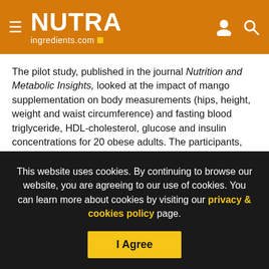NUTRAingredients.com
The pilot study, published in the journal Nutrition and Metabolic Insights, looked at the impact of mango supplementation on body measurements (hips, height, weight and waist circumference) and fasting blood triglyceride, HDL-cholesterol, glucose and insulin concentrations for 20 obese adults. The participants, aged 20-50, had a Body Mass Index (BMI) of 30 to 45 kg/m2 at the beginning of the trial.
The participants received ten grams a day of ground freeze
This website uses cookies. By continuing to browse our website, you are agreeing to our use of cookies. You can learn more about cookies by visiting our privacy & cookies policy page.
I Agree